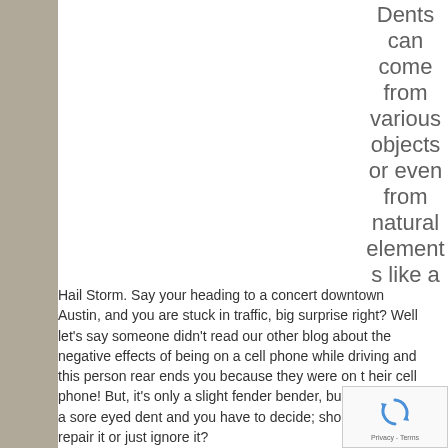Dents can come from various objects or even from natural elements like a Hail Storm. Say your heading to a concert downtown Austin, and you are stuck in traffic, big surprise right? Well let's say someone didn't read our other blog about the negative effects of being on a cell phone while driving and this person rear ends you because they were on their cell phone! But, it's only a slight fender bender, but still there's a sore eyed dent and you have to decide; should you repair it or just ignore it?